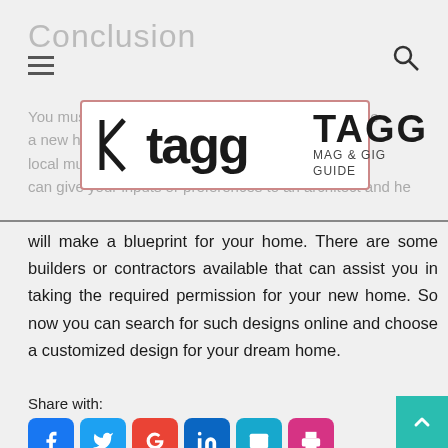Conclusion
[Figure (logo): TAGG Mag & Gig Guide logo with stylized 'tagg' text in black on white background with pink border, alongside text 'TAGG MAG & GIG GUIDE']
You must maintain the building regulations to choose a new home, submit your blueprint to the local municipality and approval. In case you can give your inputs or preferences to an architect and he will make a blueprint for your home. There are some builders or contractors available that can assist you in taking the required permission for your new home. So now you can search for such designs online and choose a customized design for your dream home.
Share with:
[Figure (infographic): Social share buttons: Facebook (blue), Twitter (light blue), Google (red), LinkedIn (dark blue), Email (cyan), Print (pink/magenta)]